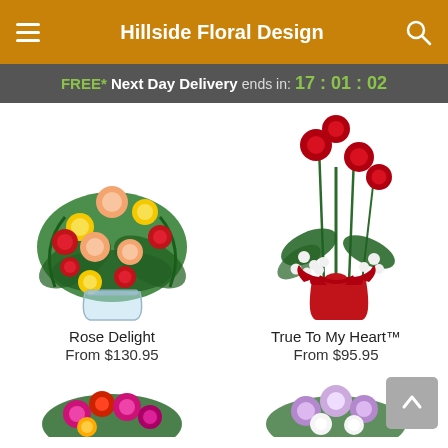Hillside Floral Design
FREE* Next Day Delivery ends in: 17:01:02
[Figure (photo): Bouquet of mixed roses (peach, yellow, red) in a glass vase — Rose Delight product photo]
Rose Delight
From $130.95
[Figure (photo): Red roses arrangement in a red vase with white flowers and a red ribbon bow — True To My Heart™ product photo]
True To My Heart™
From $95.95
[Figure (photo): Partial view of a colorful floral arrangement at bottom left (cropped)]
[Figure (photo): Partial view of a light purple/white floral arrangement at bottom right (cropped)]